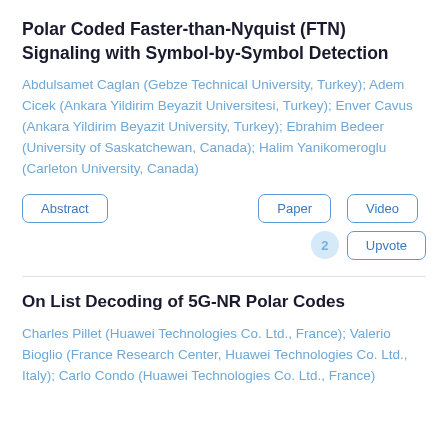Polar Coded Faster-than-Nyquist (FTN) Signaling with Symbol-by-Symbol Detection
Abdulsamet Caglan (Gebze Technical University, Turkey); Adem Cicek (Ankara Yildirim Beyazit Universitesi, Turkey); Enver Cavus (Ankara Yildirim Beyazit University, Turkey); Ebrahim Bedeer (University of Saskatchewan, Canada); Halim Yanikomeroglu (Carleton University, Canada)
Abstract | Paper | Video | 2 | Upvote
On List Decoding of 5G-NR Polar Codes
Charles Pillet (Huawei Technologies Co. Ltd., France); Valerio Bioglio (France Research Center, Huawei Technologies Co. Ltd., Italy); Carlo Condo (Huawei Technologies Co. Ltd., France)